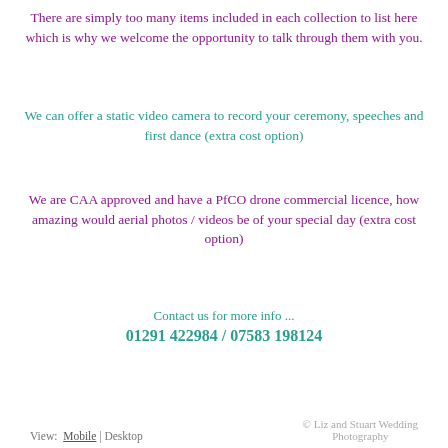There are simply too many items included in each collection to list here which is why we welcome the opportunity to talk through them with you.
We can offer a static video camera to record your ceremony, speeches and first dance (extra cost option)
We are CAA approved and have a PfCO drone commercial licence, how amazing would aerial photos / videos be of your special day (extra cost option)
Contact us for more info ...
01291 422984 / 07583 198124
View: Mobile | Desktop   © Liz and Stuart Wedding Photography